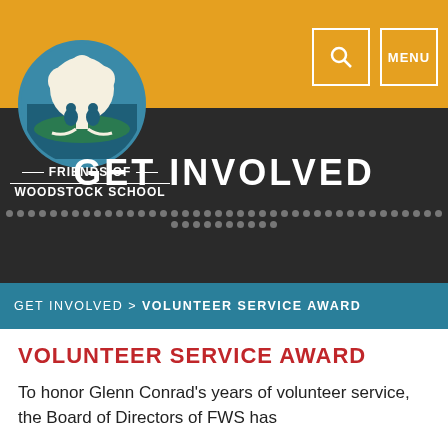[Figure (logo): Friends of Woodstock School circular logo with a tree illustration on blue/teal background]
FRIENDS OF WOODSTOCK SCHOOL
GET INVOLVED
GET INVOLVED > VOLUNTEER SERVICE AWARD
VOLUNTEER SERVICE AWARD
To honor Glenn Conrad's years of volunteer service, the Board of Directors of FWS has